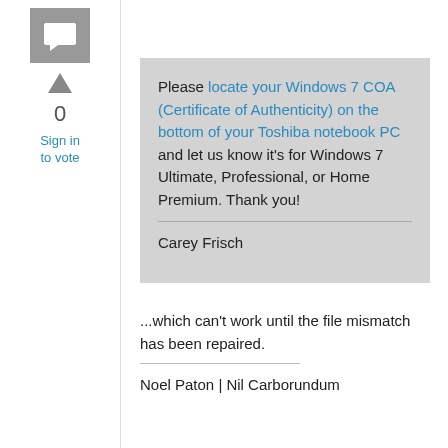[Figure (screenshot): Comment icon — grey square with white speech bubble flag icon]
0
Sign in to vote
Please locate your Windows 7 COA (Certificate of Authenticity) on the bottom of your Toshiba notebook PC and let us know it's for Windows 7 Ultimate, Professional, or Home Premium. Thank you!

Carey Frisch
...which can't work until the file mismatch has been repaired.
Noel Paton | Nil Carborundum